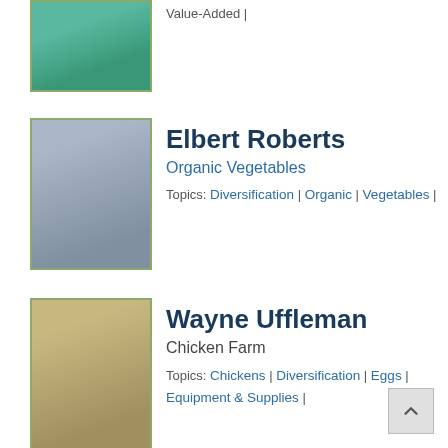[Figure (photo): Partial photo of a person wearing a teal/turquoise shirt, cropped at top]
Value-Added |
[Figure (photo): Photo of Elbert Roberts wearing a white cap and blue shirt, outdoors]
Elbert Roberts
Organic Vegetables
Topics: Diversification | Organic | Vegetables |
[Figure (photo): Photo of Wayne Uffleman wearing a tan cap and striped shirt]
Wayne Uffleman
Chicken Farm
Topics: Chickens | Diversification | Eggs | Equipment & Supplies |